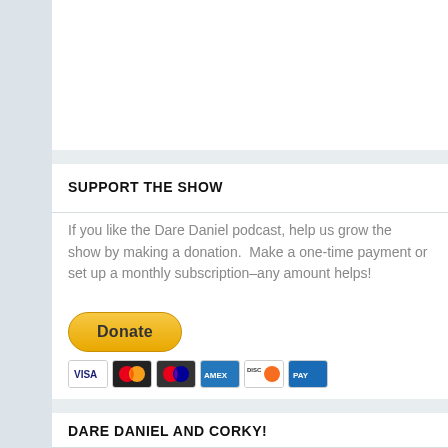SUPPORT THE SHOW
If you like the Dare Daniel podcast, help us grow the show by making a donation.  Make a one-time payment or set up a monthly subscription–any amount helps!
[Figure (other): PayPal Donate button (yellow/gold rounded rectangle) and a row of payment card icons: Visa, Mastercard, Maestro, American Express, Discover, and one more card.]
DARE DANIEL AND CORKY!